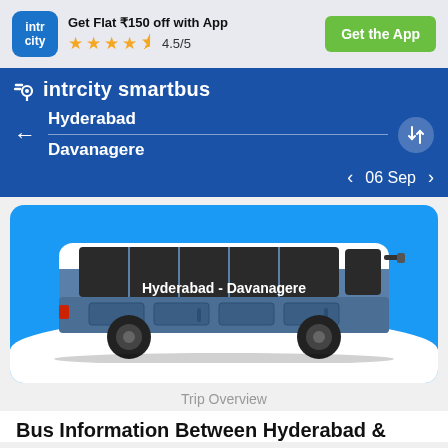[Figure (screenshot): IntrCity app icon - blue rounded square with 'intr city' text in white]
Get Flat ₹150 off with App
★★★★½ 4.5/5
Get the App
[Figure (logo): IntrCity SmartBus logo with location pin icon and speed lines]
Hyderabad
Davanagere
06 Sep
[Figure (illustration): Illustrated blue and white bus with text 'Hyderabad - Davanagere' on the side, on a blue background]
Trip Overview
Bus Information Between Hyderabad &